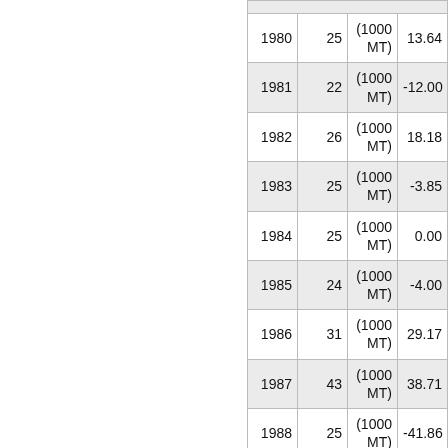| Year | Value | Unit | Change |
| --- | --- | --- | --- |
| 1980 | 25 | (1000 MT) | 13.64 |
| 1981 | 22 | (1000 MT) | -12.00 |
| 1982 | 26 | (1000 MT) | 18.18 |
| 1983 | 25 | (1000 MT) | -3.85 |
| 1984 | 25 | (1000 MT) | 0.00 |
| 1985 | 24 | (1000 MT) | -4.00 |
| 1986 | 31 | (1000 MT) | 29.17 |
| 1987 | 43 | (1000 MT) | 38.71 |
| 1988 | 25 | (1000 MT) | -41.86 |
| 1989 | 50 | (1000 MT) | 100.00 |
| 1990 | 57 | (1000 MT) | 14.00 |